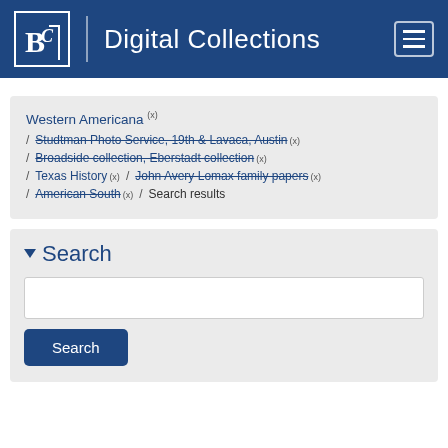BC | Digital Collections
Western Americana (x) / Studtman Photo Service, 19th & Lavaca, Austin (x) / Broadside collection, Eberstadt collection (x) / Texas History (x) / John Avery Lomax family papers (x) / American South (x) / Search results
Search
[Figure (screenshot): Search input text box]